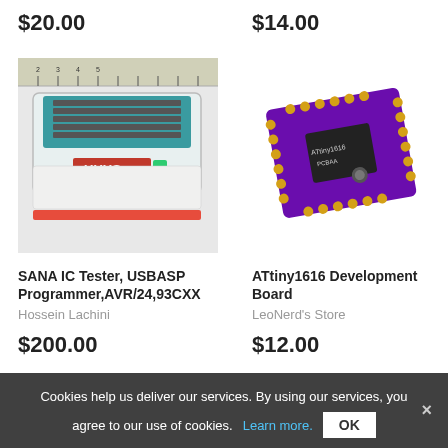$20.00
$14.00
[Figure (photo): USBASP IC programmer device with teal/white body labeled 'UUUS' and ruler in background]
[Figure (photo): ATtiny1616 Development Board - purple PCB with gold pins and chip]
SANA IC Tester, USBASP Programmer,AVR/24,93CXX
Hossein Lachini
$200.00
ATtiny1616 Development Board
LeoNerd's Store
$12.00
Cookies help us deliver our services. By using our services, you agree to our use of cookies. Learn more. OK